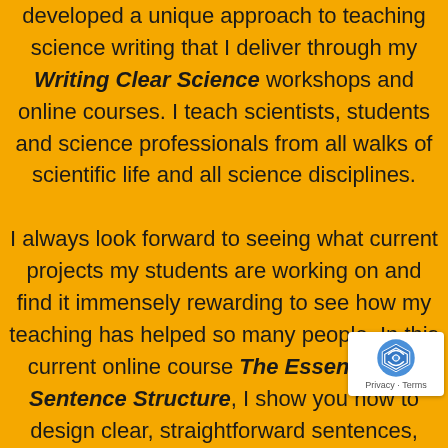developed a unique approach to teaching science writing that I deliver through my Writing Clear Science workshops and online courses. I teach scientists, students and science professionals from all walks of scientific life and all science disciplines.

I always look forward to seeing what current projects my students are working on and find it immensely rewarding to see how my teaching has helped so many people. In this current online course The Essentials of Sentence Structure, I show you how to design clear, straightforward sentences, without relying on complicated grammar terminology. This will help you spend less time editing and rewriting your work.
[Figure (logo): reCAPTCHA logo badge with Privacy and Terms links]